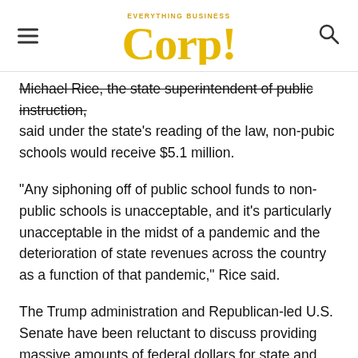Corp! Everything Business
Michael Rice, the state superintendent of public instruction, said under the state's reading of the law, non-pubic schools would receive $5.1 million.
“Any siphoning off of public school funds to non-public schools is unacceptable, and it’s particularly unacceptable in the midst of a pandemic and the deterioration of state revenues across the country as a function of that pandemic,” Rice said.
The Trump administration and Republican-led U.S. Senate have been reluctant to discuss providing massive amounts of federal dollars for state and local governments, while the Democratic-controlled U.S. House has signaled it is willing to approve hundreds of billions of dollars in public assistance to schools lacking revenue because of